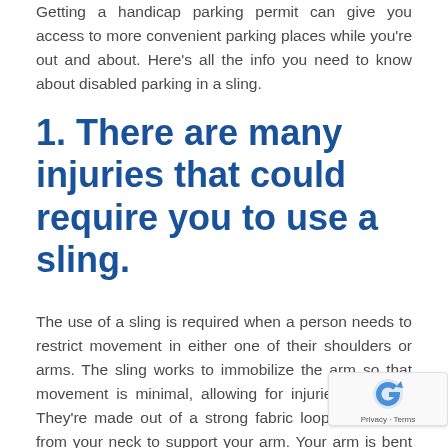Getting a handicap parking permit can give you access to more convenient parking places while you're out and about. Here's all the info you need to know about disabled parking in a sling.
1. There are many injuries that could require you to use a sling.
The use of a sling is required when a person needs to restrict movement in either one of their shoulders or arms. The sling works to immobilize the arm so that movement is minimal, allowing for injuries to mend. They're made out of a strong fabric loop that hangs from your neck to support your arm. Your arm is bent at the elbow and rests in the sling. Some slings have a strap that also goes down your back to...